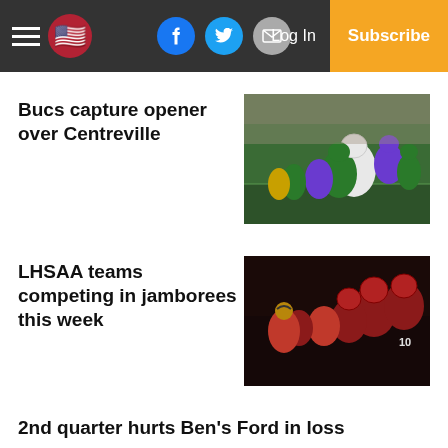Navigation bar with hamburger menu, flag icon, Facebook, Twitter, Email social buttons, Log In, Subscribe
Bucs capture opener over Centreville
[Figure (photo): Football players in green and white uniforms competing on the field]
LHSAA teams competing in jamborees this week
[Figure (photo): Football players in red helmets huddled together on the sideline at night]
2nd quarter hurts Ben's Ford in loss